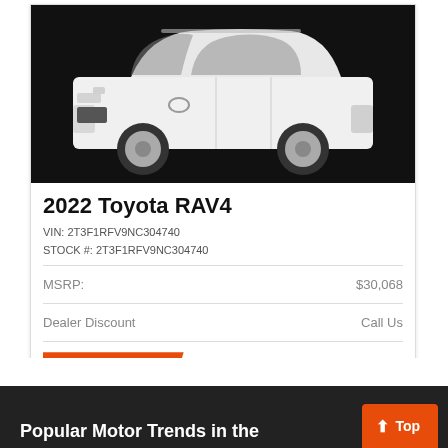[Figure (photo): White 2022 Toyota RAV4 SUV on black background, front 3/4 view]
2022 Toyota RAV4
VIN: 2T3F1RFV9NC304740
STOCK #: 2T3F1RFV9NC304740
MSRP: $30,068
Dealer Discount: Call Us
CLICK HERE   Call Us
Popular Motor Trends in the...